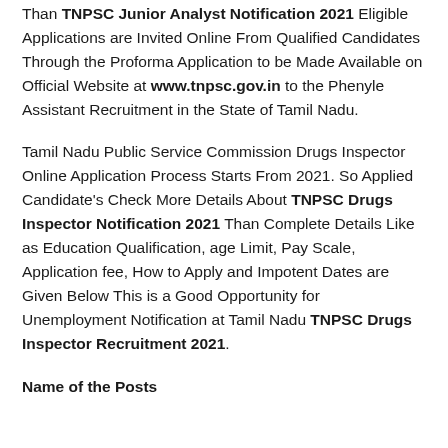Than TNPSC Junior Analyst Notification 2021 Eligible Applications are Invited Online From Qualified Candidates Through the Proforma Application to be Made Available on Official Website at www.tnpsc.gov.in to the Phenyle Assistant Recruitment in the State of Tamil Nadu.
Tamil Nadu Public Service Commission Drugs Inspector Online Application Process Starts From 2021. So Applied Candidate's Check More Details About TNPSC Drugs Inspector Notification 2021 Than Complete Details Like as Education Qualification, age Limit, Pay Scale, Application fee, How to Apply and Impotent Dates are Given Below This is a Good Opportunity for Unemployment Notification at Tamil Nadu TNPSC Drugs Inspector Recruitment 2021.
Name of the Posts